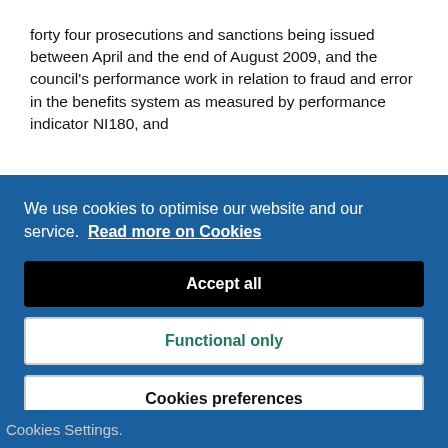forty four prosecutions and sanctions being issued between April and the end of August 2009, and the council's performance work in relation to fraud and error in the benefits system as measured by performance indicator NI180, and
We use cookies to optimise our website and our service. Read more on Cookies
Accept all
Functional only
Cookies preferences
Cookies Settings.